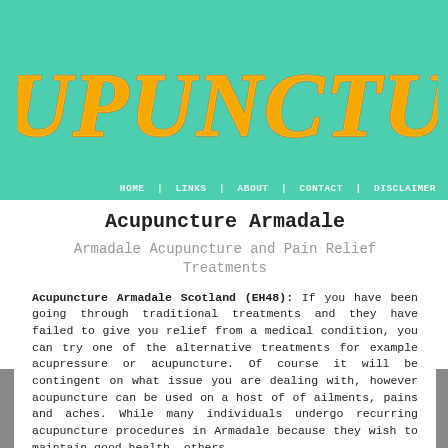[Figure (logo): ACUPUNCTURE logo in orange brush-script italic lettering on teal/mint green background]
HOME | LINKS | ABOUT | CONTACT | DISCLAIMER
Acupuncture Armadale
Armadale Acupuncture and Pain Relief Treatments
Acupuncture Armadale Scotland (EH48): If you have been going through traditional treatments and they have failed to give you relief from a medical condition, you can try one of the alternative treatments for example acupressure or acupuncture. Of course it will be contingent on what issue you are dealing with, however acupuncture can be used on a host of of ailments, pains and aches. While many individuals undergo recurring acupuncture procedures in Armadale because they wish to maintain good health, others
By using this website you are agreeing to the use of third-party cookies Learn More OK